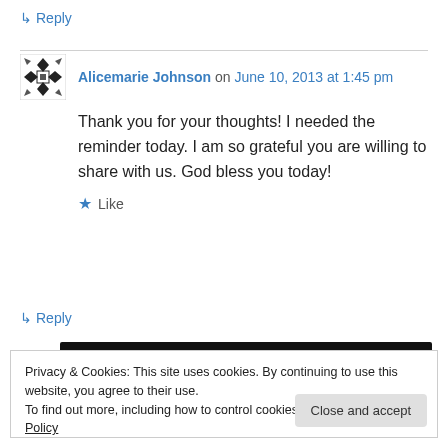↳ Reply
Alicemarie Johnson on June 10, 2013 at 1:45 pm
Thank you for your thoughts! I needed the reminder today. I am so grateful you are willing to share with us. God bless you today!
★ Like
↳ Reply
Privacy & Cookies: This site uses cookies. By continuing to use this website, you agree to their use.
To find out more, including how to control cookies, see here: Cookie Policy